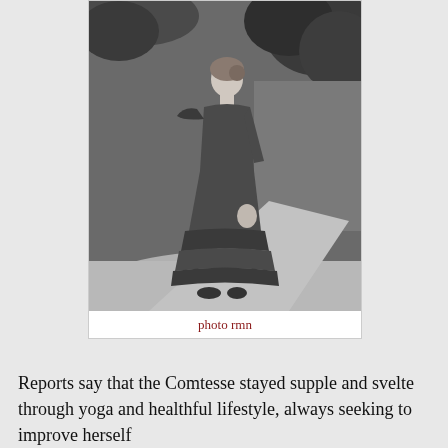[Figure (photo): Black and white photograph of a woman standing outdoors in a long ruffled evening gown with dramatic shoulder detail, posed on a path with trees and foliage in the background.]
photo rmn
Reports say that the Comtesse stayed supple and svelte through yoga and healthful lifestyle, always seeking to improve herself